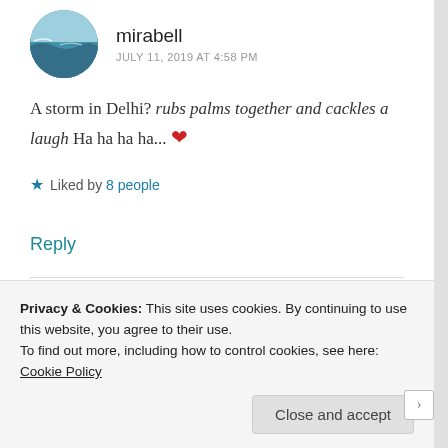mirabell
JULY 11, 2019 AT 4:58 PM
A storm in Delhi? rubs palms together and cackles a laugh Ha ha ha ha... ❤
★ Liked by 8 people
Reply
hailstorm464
Privacy & Cookies: This site uses cookies. By continuing to use this website, you agree to their use.
To find out more, including how to control cookies, see here: Cookie Policy
Close and accept